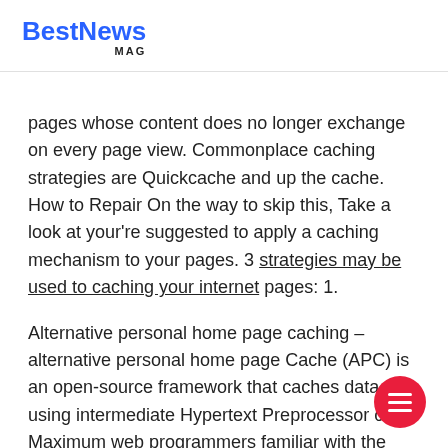BestNews MAG
pages whose content does no longer exchange on every page view. Commonplace caching strategies are Quickcache and up the cache. How to Repair On the way to skip this, Take a look at your're suggested to apply a caching mechanism to your pages. 3 strategies may be used to caching your internet pages: 1.
Alternative personal home page caching – alternative personal home page Cache (APC) is an open-source framework that caches data using intermediate Hypertext Preprocessor code. Maximum web programmers familiar with the personal home page programming language easily set up alternative personal home page Cache to your